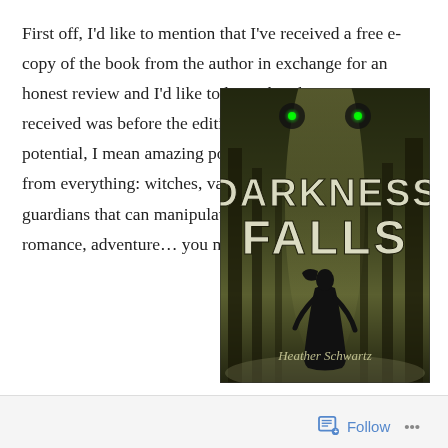First off, I'd like to mention that I've received a free e-copy of the book from the author in exchange for an honest review and I'd like to hope that the version I've received was before the editing. The story has great potential, I mean amazing potential! It has something from everything: witches, vampires, werewolves, guardians that can manipulate the elements, a seer, romance, adventure… you name it! I noticed also that on
[Figure (illustration): Book cover of 'Darkness Falls' by Heather Schwartz. Dark atmospheric forest scene with a silhouetted female figure walking away. Large distressed white text reads 'DARKNESS FALLS'. Two glowing green eyes at the top. Author name 'Heather Schwartz' at bottom in stylized font.]
Follow ···